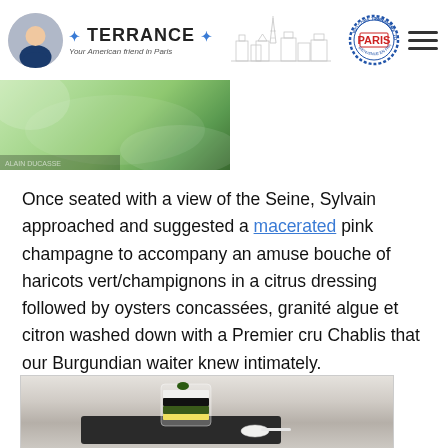TERRANCE · Your American friend in Paris
[Figure (photo): Green food/ingredient close-up photo strip]
Once seated with a view of the Seine, Sylvain approached and suggested a macerated pink champagne to accompany an amuse bouche of haricots vert/champignons in a citrus dressing followed by oysters concassées, granité algue et citron washed down with a Premier cru Chablis that our Burgundian waiter knew intimately.
[Figure (photo): Elegant amuse bouche dish served in a glass on a black slate plate with a spoon]